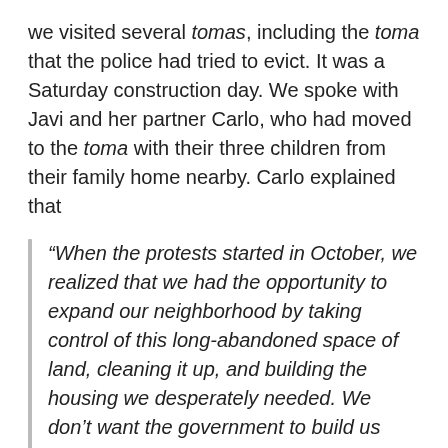we visited several tomas, including the toma that the police had tried to evict. It was a Saturday construction day. We spoke with Javi and her partner Carlo, who had moved to the toma with their three children from their family home nearby. Carlo explained that
“When the protests started in October, we realized that we had the opportunity to expand our neighborhood by taking control of this long-abandoned space of land, cleaning it up, and building the housing we desperately needed. We don’t want the government to build us houses in some other, far away neighborhood.”
Carlo said, “We want the power to decide what